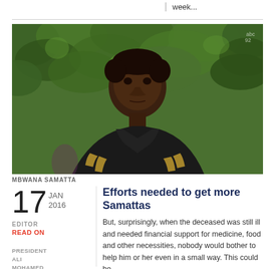week...
[Figure (photo): Portrait photo of Mbwana Samatta, a young African man wearing a dark tracksuit jacket with gold stripes, looking sideways, with green foliage in the background.]
MBWANA SAMATTA
17 JAN 2016
EDITOR
READ ON
PRESIDENT ALI MOHAMED SHAIN (L
Efforts needed to get more Samattas
But, surprisingly, when the deceased was still ill and needed financial support for medicine, food and other necessities, nobody would bother to help him or her even in a small way. This could be...